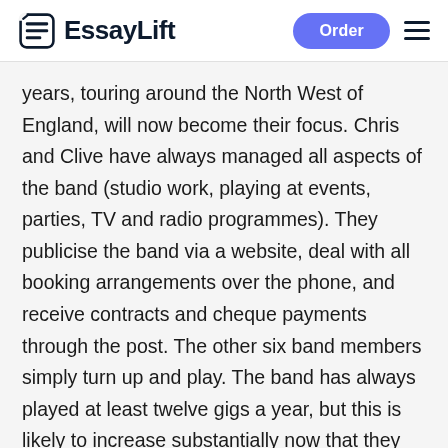EssayLift — Order
years, touring around the North West of England, will now become their focus. Chris and Clive have always managed all aspects of the band (studio work, playing at events, parties, TV and radio programmes). They publicise the band via a website, deal with all booking arrangements over the phone, and receive contracts and cheque payments through the post. The other six band members simply turn up and play. The band has always played at least twelve gigs a year, but this is likely to increase substantially now that they can commit more time to networking and promotions. As such, they will be required to take a much more